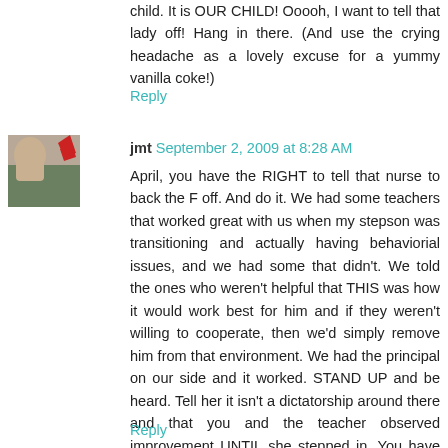child. It is OUR CHILD! Ooooh, I want to tell that lady off! Hang in there. (And use the crying headache as a lovely excuse for a yummy vanilla coke!)
Reply
jmt September 2, 2009 at 8:28 AM
April, you have the RIGHT to tell that nurse to back the F off. And do it. We had some teachers that worked great with us when my stepson was transitioning and actually having behaviorial issues, and we had some that didn't. We told the ones who weren't helpful that THIS was how it would work best for him and if they weren't willing to cooperate, then we'd simply remove him from that environment. We had the principal on our side and it worked. STAND UP and be heard. Tell her it isn't a dictatorship around there and that you and the teacher observed improvement UNTIL she stepped in. You have that RIGHT. I do suggest, however, that you speak like this to her when Blake isn't around to hear you. :)
Reply